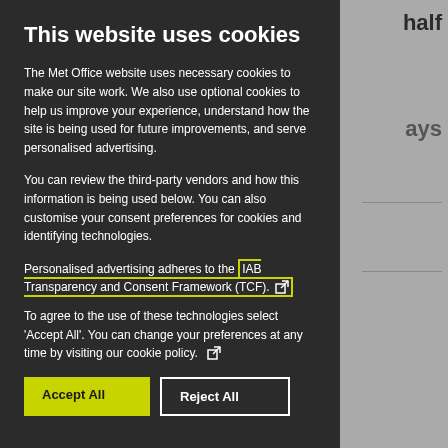This website uses cookies
The Met Office website uses necessary cookies to make our site work. We also use optional cookies to help us improve your experience, understand how the site is being used for future improvements, and serve personalised advertising.
You can review the third-party vendors and how this information is being used below. You can also customise your consent preferences for cookies and identifying technologies.
Personalised advertising adheres to the IAB Transparency and Consent Framework (TCF). [external link]
To agree to the use of these technologies select 'Accept All'. You can change your preferences at any time by visiting our cookie policy. [external link]